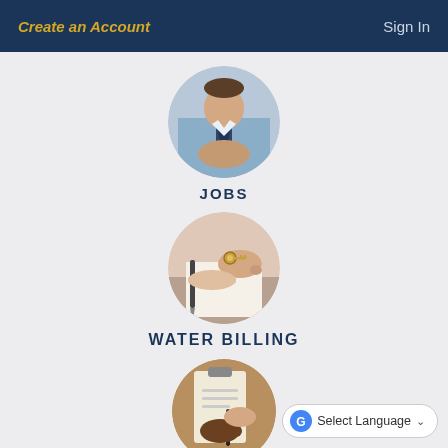Create an Account    Sign In
[Figure (photo): Circular photo of a man in a blue shirt and tie with hands clasped, representing Jobs]
JOBS
[Figure (photo): Circular photo of hands exchanging keys, representing Water Billing]
WATER BILLING
[Figure (photo): Circular photo of hands signing documents on a clipboard, representing Permits & Licenses]
PERMITS & LICENSES